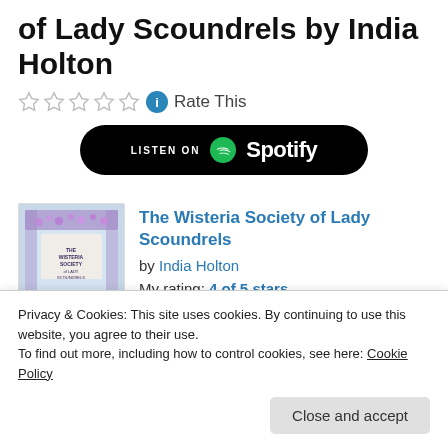of Lady Scoundrels by India Holton
Rate This
[Figure (logo): Listen on Spotify button — black rounded rectangle with Spotify logo and text]
[Figure (photo): Book cover of The Wisteria Society of Lady Scoundrels by India Holton — illustrated cover with wisteria flowers]
The Wisteria Society of Lady Scoundrels by India Holton
My rating: 4 of 5 stars
I don't do this often, but I think I should
Privacy & Cookies: This site uses cookies. By continuing to use this website, you agree to their use.
To find out more, including how to control cookies, see here: Cookie Policy